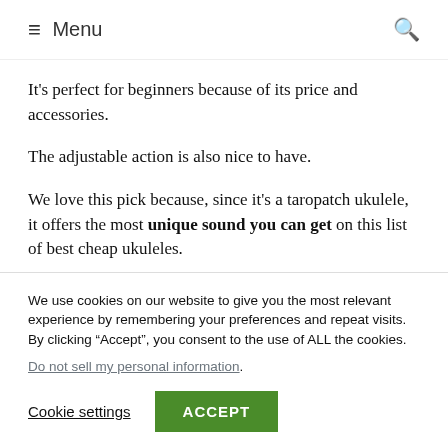Menu
It's perfect for beginners because of its price and accessories.
The adjustable action is also nice to have.
We love this pick because, since it's a taropatch ukulele, it offers the most unique sound you can get on this list of best cheap ukuleles.
We use cookies on our website to give you the most relevant experience by remembering your preferences and repeat visits. By clicking “Accept”, you consent to the use of ALL the cookies.
Do not sell my personal information.
Cookie settings  ACCEPT